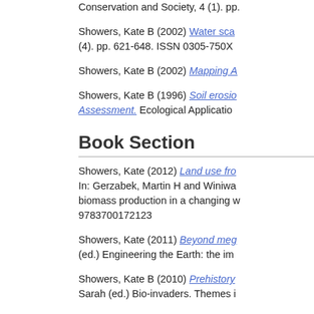Conservation and Society, 4 (1). pp. [truncated]
Showers, Kate B (2002) Water sca... (4). pp. 621-648. ISSN 0305-750X
Showers, Kate B (2002) Mapping A...
Showers, Kate B (1996) Soil erosio... Assessment. Ecological Application...
Book Section
Showers, Kate (2012) Land use fro... In: Gerzabek, Martin H and Winiwa... biomass production in a changing v... 9783700172123
Showers, Kate (2011) Beyond meg... (ed.) Engineering the Earth: the im...
Showers, Kate B (2010) Prehistory... Sarah (ed.) Bio-invaders. Themes i...
Showers, Kate (2006) Soil erosion... (ed.) Footsteps in the soil: people a...